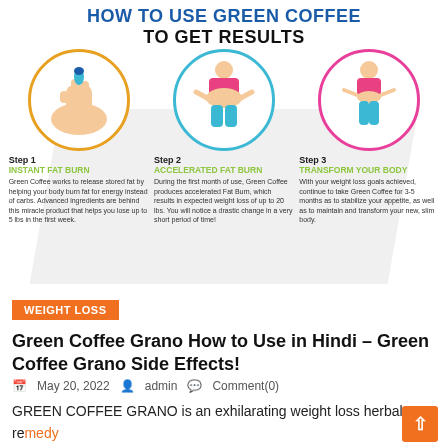HOW TO USE Green Coffee TO GET RESULTS
[Figure (infographic): Three-step infographic showing how to use Green Coffee to get results. Step 1: Instant Fat Burn (hand holding pill, yellow circle). Step 2: Accelerated Fat Burn (woman with belly fat, blue circle). Step 3: Transform Your Body (slimmer woman, pink circle).]
Step 1 INSTANT FAT BURN - Green Coffee works to release stored fat by helping your body burn fat for energy instead of carbs. Advanced ingredients are behind this miracle product that helps you lose up to 5 lbs in the first week.
Step 2 ACCELERATED FAT BURN - During the first month of use, Green Coffee produces accelerated Fat Burn, which results in expected weight loss of up to 20 lbs. You will notice a drastic change in a very short period of time!
Step 3 TRANSFORM YOUR BODY - With your weight loss goals achieved, continue to take Green Coffee for 3-5 months as to stabilize your appetite, as well as to maintain and transform your new, slim body.
WEIGHT LOSS
Green Coffee Grano How to Use in Hindi – Green Coffee Grano Side Effects!
May 20, 2022  admin  Comment(0)
GREEN COFFEE GRANO is an exhilarating weight loss herbal remedy that feeds your mechanism with sufficient nourishment and guides your body to burn fat adroitly & rapidly with gaining lean muscle mass.